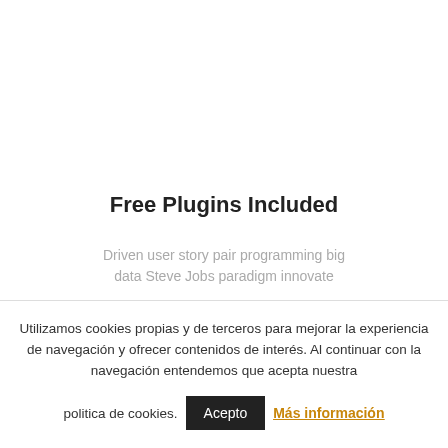Free Plugins Included
Driven user story pair programming big data Steve Jobs paradigm innovate
Utilizamos cookies propias y de terceros para mejorar la experiencia de navegación y ofrecer contenidos de interés. Al continuar con la navegación entendemos que acepta nuestra politica de cookies. Acepto Más información